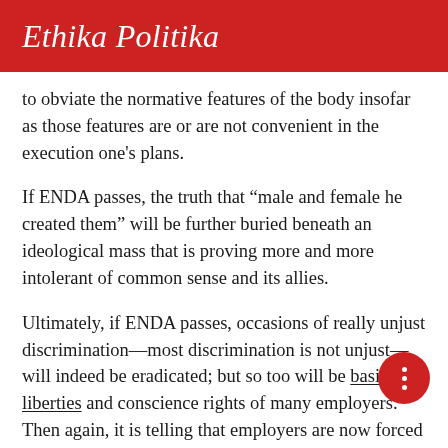Ethika Politika
to obviate the normative features of the body insofar as those features are or are not convenient in the execution one's plans.
If ENDA passes, the truth that “male and female he created them” will be further buried beneath an ideological mass that is proving more and more intolerant of common sense and its allies.
Ultimately, if ENDA passes, occasions of really unjust discrimination—most discrimination is not unjust—will indeed be eradicated; but so too will be basic civil liberties and conscience rights of many employers. Then again, it is telling that employers are now forced to take shelter under the mantle of “conscience protection” in order to avoid being prosecuted for not wanting to acquiesce to the wishes of grown men who demand, as a